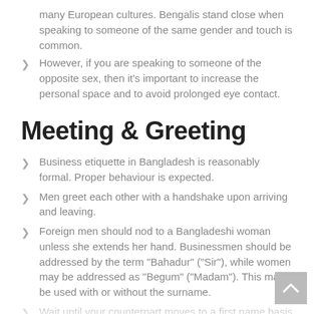many European cultures. Bengalis stand close when speaking to someone of the same gender and touch is common.
However, if you are speaking to someone of the opposite sex, then it's important to increase the personal space and to avoid prolonged eye contact.
Meeting & Greeting
Business etiquette in Bangladesh is reasonably formal. Proper behaviour is expected.
Men greet each other with a handshake upon arriving and leaving.
Foreign men should nod to a Bangladeshi woman unless she extends her hand. Businessmen should be addressed by the term "Bahadur" ("Sir"), while women may be addressed as "Begum" ("Madam"). This may be used with or without the surname.
Wait until your counterpart moves to a first name basis before you do so.